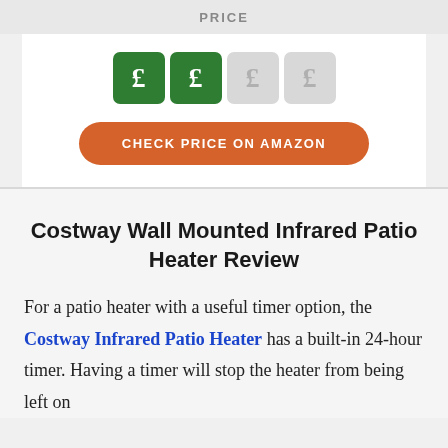PRICE
[Figure (infographic): Four pound sign icons: two active (green background) and two inactive (grey background), representing price level indicator with two out of four filled]
CHECK PRICE ON AMAZON
Costway Wall Mounted Infrared Patio Heater Review
For a patio heater with a useful timer option, the Costway Infrared Patio Heater has a built-in 24-hour timer. Having a timer will stop the heater from being left on